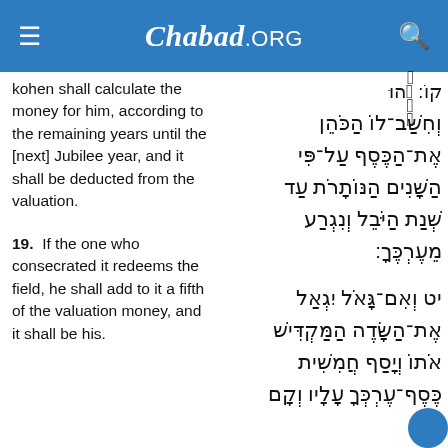Chabad.ORG
kohen shall calculate the money for him, according to the remaining years until the [next] Jubilee year, and it shall be deducted from the valuation.
Hebrew text: וְחִשַּׁב־לוֹ הַכֹּהֵן אֶת־הַכֶּסֶף עַל־פִּי הַשָּׁנִים הַנּוֹתָרֹת עַד שְׁנַת הַיֹּבֵל וְנִגְרַע מֵעֶרְכֶּךָ:
19.  If the one who consecrated it redeems the field, he shall add to it a fifth of the valuation money, and it shall be his.
Hebrew text: יט וְאִם־גָּאֹל יִגְאַל אֶת־הַשָּׂדֶה הַמַּקְדִּישׁ אֹתוֹ וְיָסַף חֲמִשִׁית כֶּסֶף־עֶרְכְּךָ עָלָיו וְקָם